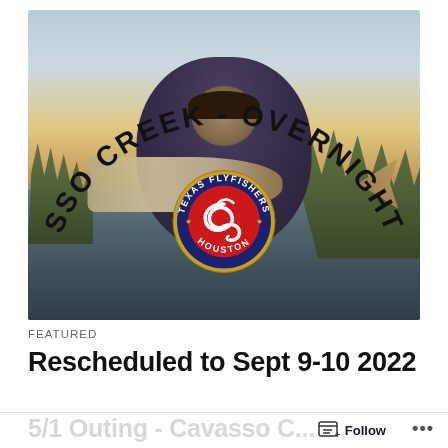[Figure (photo): Man holding a large redfish on a boat in a marsh waterway at sunset/dusk. Arched text reads 'CAVASSO CREEK - OVERNIGHT TRIP' in bold black letters. Texas Flyfishers Houston logo (red circular badge with fly fishing hook) overlaid in center-bottom of photo.]
FEATURED
Rescheduled to Sept 9-10 2022
5/1 Outing - Cavasso C...